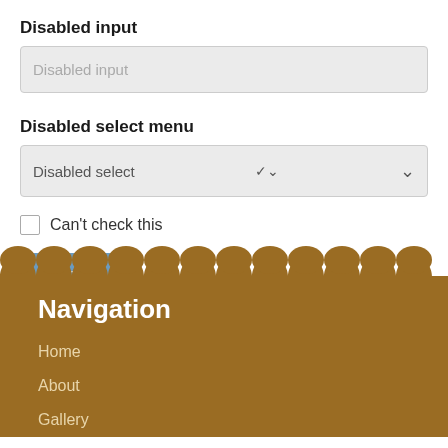Disabled input
Disabled input
Disabled select menu
Disabled select
Can't check this
Submit
Navigation
Home
About
Gallery